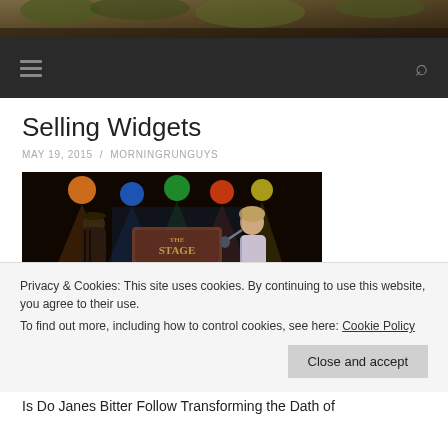[Figure (photo): Top banner: outdoor photo with foliage, brown and green tones]
[Figure (screenshot): Dark navigation bar with hamburger menu icon on left and search icon on right]
Selling Widgets
MAY 19, 2015 / MORNINGRUNGUYS
[Figure (photo): Concert photo showing two performers on stage with colorful stage lights and a 'The Stage' sign/banner]
Privacy & Cookies: This site uses cookies. By continuing to use this website, you agree to their use.
To find out more, including how to control cookies, see here: Cookie Policy
Close and accept
Is Do Janes Bitter Follow Transforming the Dath of